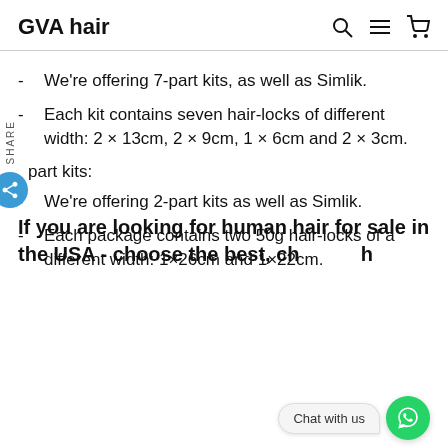GVA hair
We're offering 7-part kits, as well as Simlik.
Each kit contains seven hair-locks of different width: 2 × 13cm, 2 × 9cm, 1 × 6cm and 2 × 3cm.
part kits:
We're offering 2-part kits as well as Simlik.
Each package contains two 50g hair-locks of a different width: 1×26cm and 1×22cm.
If you are looking for human hair for sale in the USA - choose the best, ch h